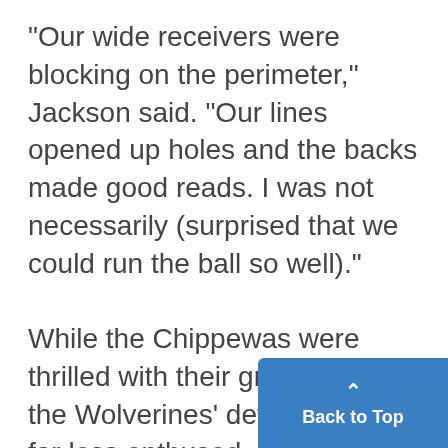"Our wide receivers were blocking on the perimeter," Jackson said. "Our lines opened up holes and the backs made good reads. I was not necessarily (surprised that we could run the ball so well)." While the Chippewas were thrilled with their ground attack, the Wolverines' defenders were far less enthused. "We were all pretty upset at the fact that they were running the ball the way they were," Michigan s[tate's] Jon Shaw said. "That definitely ...
[Figure (other): Blue 'Back to Top' button in bottom-right corner with an upward caret arrow icon above the text.]